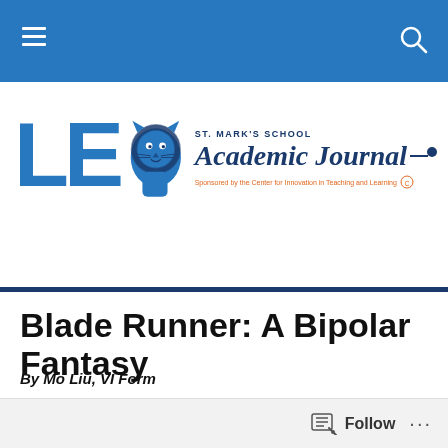LEO Academic Journal — St. Mark's School
[Figure (logo): LEO Academic Journal logo with lion mascot, St. Mark's School, sponsored by the Center for Innovation in Teaching and Learning]
Blade Runner: A Bipolar Fantasy
By Mo Liu, VI Form
Blade Runner: A Bipolar Fantasy
Introduction
Follow